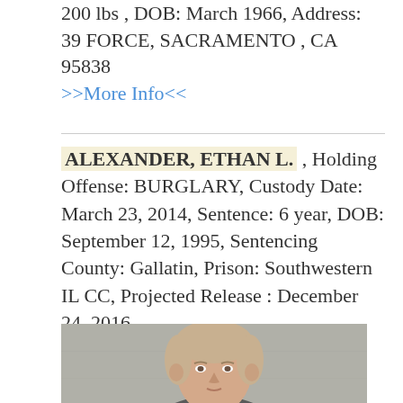200 lbs , DOB: March 1966, Address: 39 FORCE, SACRAMENTO , CA 95838
>>More Info<<
ALEXANDER, ETHAN L. , Holding Offense: BURGLARY, Custody Date: March 23, 2014, Sentence: 6 year, DOB: September 12, 1995, Sentencing County: Gallatin, Prison: Southwestern IL CC, Projected Release : December 24, 2016
[Figure (photo): Mugshot photo of ALEXANDER, ETHAN L. — young male with short light-brown hair, photographed against a gray concrete wall, cropped to show head and upper shoulders.]